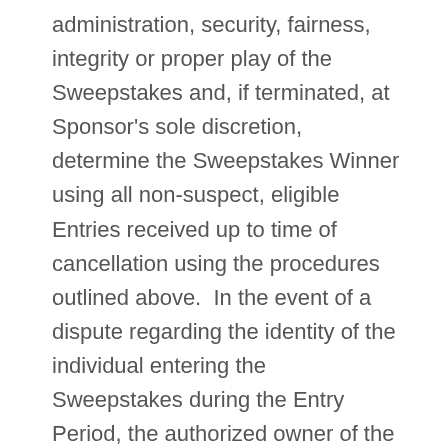administration, security, fairness, integrity or proper play of the Sweepstakes and, if terminated, at Sponsor's sole discretion, determine the Sweepstakes Winner using all non-suspect, eligible Entries received up to time of cancellation using the procedures outlined above. In the event of a dispute regarding the identity of the individual entering the Sweepstakes during the Entry Period, the authorized owner of the email account associated with the Instagram account used to participate in the Sweepstakes will be deemed to be the Entrant and must comply with these Official Rules. Authorized owner means the natural person who is assigned the email address by the relevant Internet access provider, online